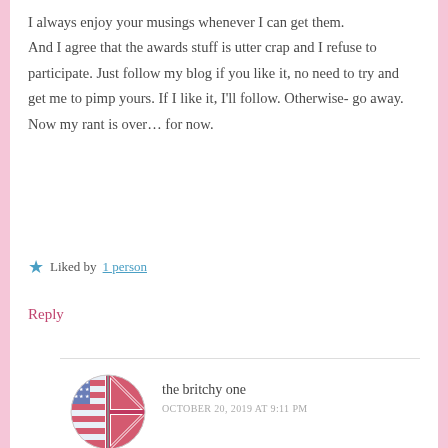I always enjoy your musings whenever I can get them. And I agree that the awards stuff is utter crap and I refuse to participate. Just follow my blog if you like it, no need to try and get me to pimp yours. If I like it, I'll follow. Otherwise- go away.
Now my rant is over… for now.
★ Liked by 1 person
Reply
the britchy one
OCTOBER 20, 2019 AT 9:11 PM
[Figure (illustration): Circular avatar combining US flag and UK flag designs, pink/red tones]
Rangers of the world unite!!!  ….when we feel like it lol